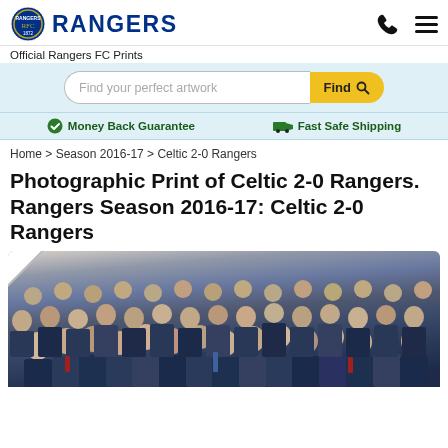RANGERS
Official Rangers FC Prints
Find your perfect artwork  Find
Money Back Guarantee   Fast Safe Shipping
Home > Season 2016-17 > Celtic 2-0 Rangers
Photographic Print of Celtic 2-0 Rangers. Rangers Season 2016-17: Celtic 2-0 Rangers
[Figure (photo): Crowd of Rangers fans at a football match, Celtic 2-0 Rangers, Season 2016-17]